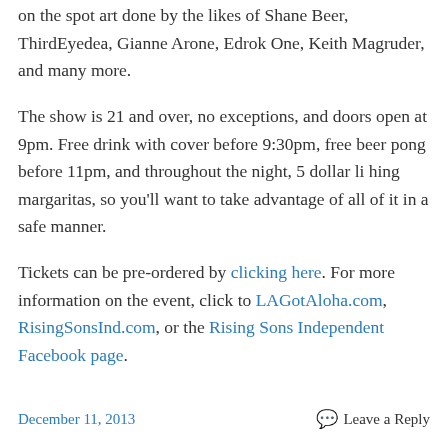on the spot art done by the likes of Shane Beer, ThirdEyedea, Gianne Arone, Edrok One, Keith Magruder, and many more.
The show is 21 and over, no exceptions, and doors open at 9pm. Free drink with cover before 9:30pm, free beer pong before 11pm, and throughout the night, 5 dollar li hing margaritas, so you'll want to take advantage of all of it in a safe manner.
Tickets can be pre-ordered by clicking here. For more information on the event, click to LAGotAloha.com, RisingSonsInd.com, or the Rising Sons Independent Facebook page.
December 11, 2013   Leave a Reply